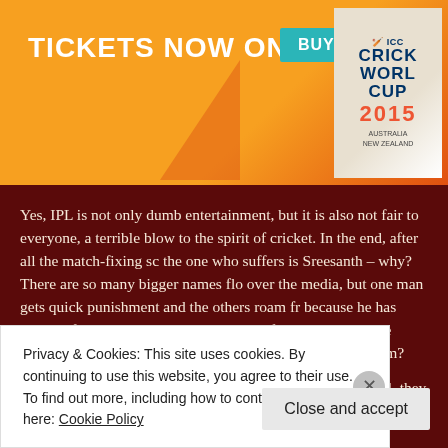[Figure (other): ICC Cricket World Cup 2015 Australia New Zealand banner advertisement with orange background, 'TICKETS NOW ON SALE' text and 'BUY NOW' teal button]
Yes, IPL is not only dumb entertainment, but it is also not fair to everyone, a terrible blow to the spirit of cricket. In the end, after all the match-fixing sc the one who suffers is Sreesanth – why? There are so many bigger names flo over the media, but one man gets quick punishment and the others roam fr because he has lesser influence? Is it because he comes from a team with le influence in IPL and the same is the case with his Ranji team?
So, what has IPL provided for the Indian cricket team? Well, they haven't w World Cup after that. It has surely given them controversies and also creat
Privacy & Cookies: This site uses cookies. By continuing to use this website, you agree to their use.
To find out more, including how to control cookies, see here: Cookie Policy
Close and accept